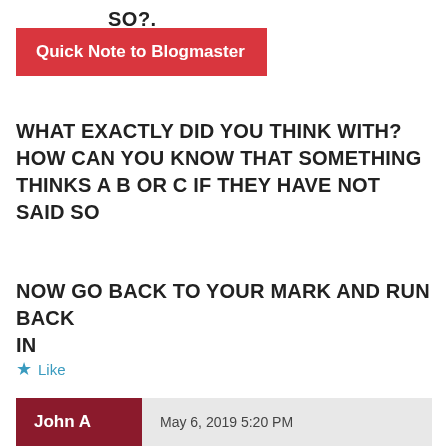SO?.
Quick Note to Blogmaster
WHAT EXACTLY DID YOU THINK WITH? HOW CAN YOU KNOW THAT SOMETHING THINKS A B OR C IF THEY HAVE NOT SAID SO
NOW GO BACK TO YOUR MARK AND RUN BACK IN
★ Like
John A   May 6, 2019 5:20 PM
Lol let me get you clear. You have never thought something and not said it? The lady was discussing a delicate topic and emphasised that a heavy